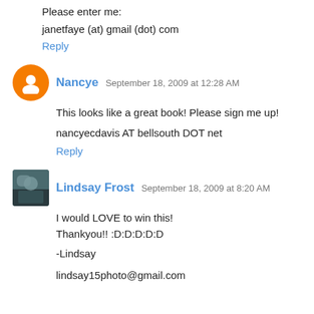Please enter me:
janetfaye (at) gmail (dot) com
Reply
Nancye  September 18, 2009 at 12:28 AM
This looks like a great book! Please sign me up!
nancyecdavis AT bellsouth DOT net
Reply
Lindsay Frost  September 18, 2009 at 8:20 AM
I would LOVE to win this!
Thankyou!! :D:D:D:D:D

-Lindsay
lindsay15photo@gmail.com